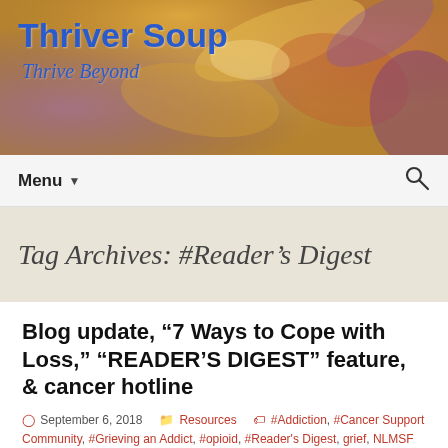[Figure (illustration): Colorful painted banner background with warm yellow, orange, and purple tones resembling an iris flower painting, with 'Thriver Soup' title and 'Thrive Beyond' subtitle overlaid in blue text]
Menu ▼   🔍
Tag Archives: #Reader's Digest
Blog update, “7 Ways to Cope with Loss,” “READER’S DIGEST” feature, & cancer hotline
September 6, 2018   Resources   #Addiction, #Cancer Support Community, #Grieving an Addict, #opioid, #Reader's Digest, grief, NLMSF